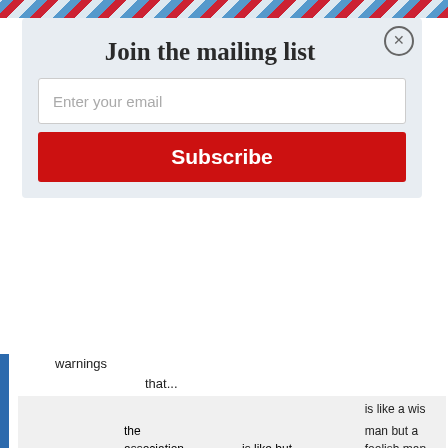Join the mailing list
Enter your email
Subscribe
warnings
that...
and advice
|  |  | is like but
metaphors/similes | is like a wise man but a foolish man
like
Matthew 7:24-27 |
| --- | --- | --- | --- |
| Contrasts /
Illustrations | the
association
of things that
are similar
or opposite | is like but
metaphors/simileslike | is like a wis
man but a
foolish man
like
Matthew
7:24-27 |
words, ideas
or phrases
faith, more